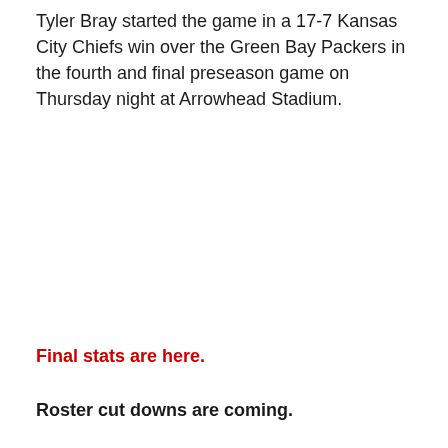Tyler Bray started the game in a 17-7 Kansas City Chiefs win over the Green Bay Packers in the fourth and final preseason game on Thursday night at Arrowhead Stadium.
Final stats are here.
Roster cut downs are coming.